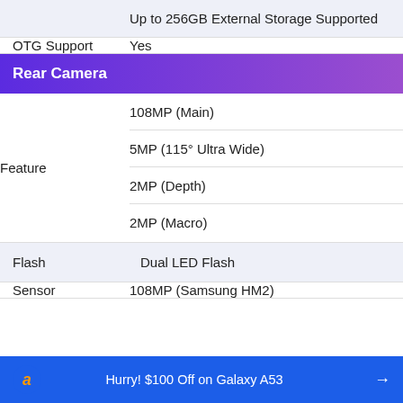| Feature | Value |
| --- | --- |
|  | Up to 256GB External Storage Supported |
| OTG Support | Yes |
| Rear Camera |  |
| Feature | 108MP (Main)
5MP (115° Ultra Wide)
2MP (Depth)
2MP (Macro) |
| Flash | Dual LED Flash |
| Sensor | 108MP (Samsung HM2) |
Hurry! $100 Off on Galaxy A53